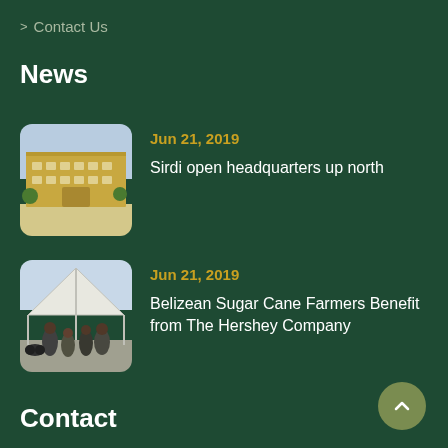> Contact Us
News
[Figure (photo): Photo of a building exterior with tan/yellow facade and blue sky]
Jun 21, 2019
Sirdi open headquarters up north
[Figure (photo): Photo of people gathered outdoors under a white tent canopy]
Jun 21, 2019
Belizean Sugar Cane Farmers Benefit from The Hershey Company
Contact